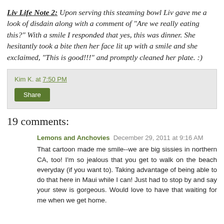Liv Life Note 2: Upon serving this steaming bowl Liv gave me a look of disdain along with a comment of "Are we really eating this?" With a smile I responded that yes, this was dinner. She hesitantly took a bite then her face lit up with a smile and she exclaimed, "This is good!!!" and promptly cleaned her plate. :)
Kim K. at 7:50 PM
Share
19 comments:
Lemons and Anchovies December 29, 2011 at 9:16 AM
That cartoon made me smile--we are big sissies in northern CA, too! I'm so jealous that you get to walk on the beach everyday (if you want to). Taking advantage of being able to do that here in Maui while I can! Just had to stop by and say your stew is gorgeous. Would love to have that waiting for me when we get home.